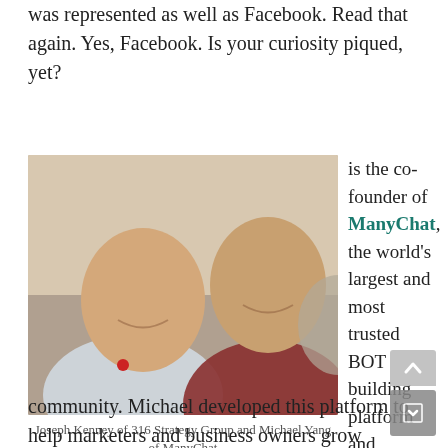was represented as well as Facebook. Read that again. Yes, Facebook. Is your curiosity piqued, yet?
[Figure (photo): Two men smiling at the camera in an indoor event setting. The man on the left is older with a shaved head wearing a white shirt and conference lanyard. The man on the right is younger with dark hair wearing a red plaid shirt over a white t-shirt.]
Joseph Kenney of 316 Strategy Group and Michael Yang of ManyChat
is the co-founder of ManyChat, the world's largest and most trusted BOT building platform and messenger marketing community. Michael developed this platform to help marketers and business owners grow relationships and